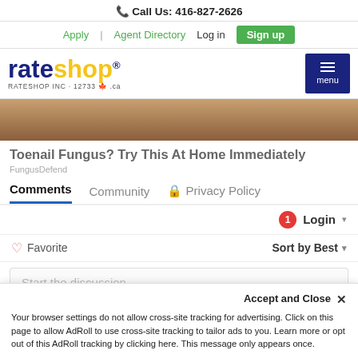Call Us: 416-827-2626
Apply | Agent Directory  Log in  Sign up
[Figure (logo): RateShop logo with blue and yellow text, RATESHOP INC · 12733 Canadian flag .ca, and dark blue menu button]
[Figure (photo): Partial image showing close-up skin tones, advertisement image]
Toenail Fungus? Try This At Home Immediately
FungusDefend
Comments  Community  Privacy Policy
1  Login ▾
♡ Favorite  Sort by Best ▾
Start the discussion…
Accept and Close ✕
Your browser settings do not allow cross-site tracking for advertising. Click on this page to allow AdRoll to use cross-site tracking to tailor ads to you. Learn more or opt out of this AdRoll tracking by clicking here. This message only appears once.